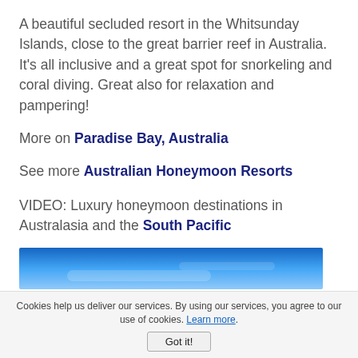A beautiful secluded resort in the Whitsunday Islands, close to the great barrier reef in Australia. It's all inclusive and a great spot for snorkeling and coral diving. Great also for relaxation and pampering!
More on Paradise Bay, Australia
See more Australian Honeymoon Resorts
VIDEO: Luxury honeymoon destinations in Australasia and the South Pacific
[Figure (photo): Partial view of a video thumbnail showing a blue sky scene, cropped at the bottom of the page.]
Cookies help us deliver our services. By using our services, you agree to our use of cookies. Learn more. Got it!